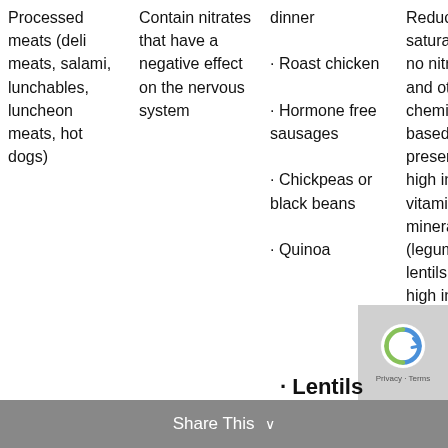| Processed meats (deli meats, salami, lunchables, luncheon meats, hot dogs) | Contain nitrates that have a negative effect on the nervous system | · Roast chicken
· Hormone free sausages
· Chickpeas or black beans
· Quinoa | Reduced saturated no nitrates and other chemical based preservatives high in vitamins, minerals, (legumes, lentils also high in fib... |
Share This ∨
· Lentils